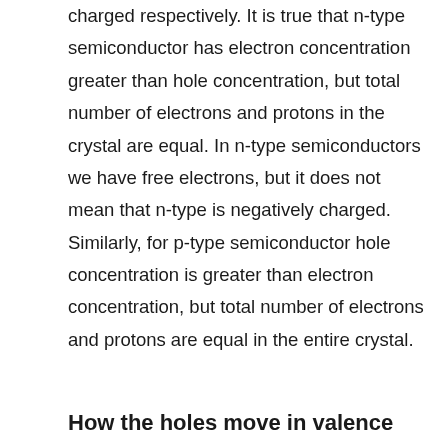charged respectively. It is true that n-type semiconductor has electron concentration greater than hole concentration, but total number of electrons and protons in the crystal are equal. In n-type semiconductors we have free electrons, but it does not mean that n-type is negatively charged. Similarly, for p-type semiconductor hole concentration is greater than electron concentration, but total number of electrons and protons are equal in the entire crystal.
How the holes move in valence